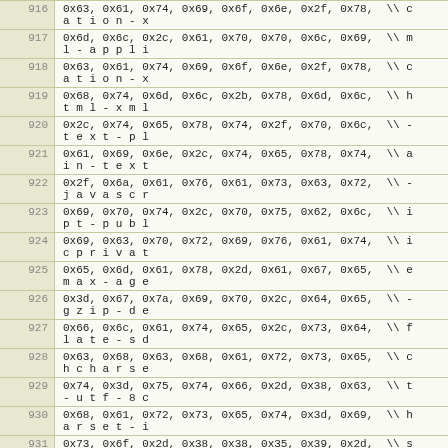| line | code |
| --- | --- |
| 916 | 0x63, 0x61, 0x74, 0x69, 0x6f, 0x6e, 0x2f, 0x78,  \\ c
a t i o n - x |
| 917 | 0x6d, 0x6c, 0x2c, 0x61, 0x70, 0x70, 0x6c, 0x69,  \\ m
l - a p p l i |
| 918 | 0x63, 0x61, 0x74, 0x69, 0x6f, 0x6e, 0x2f, 0x78,  \\ c
a t i o n - x |
| 919 | 0x68, 0x74, 0x6d, 0x6c, 0x2b, 0x78, 0x6d, 0x6c,  \\ h
t m l - x m l |
| 920 | 0x2c, 0x74, 0x65, 0x78, 0x74, 0x2f, 0x70, 0x6c,  \\ -
t e x t - p l |
| 921 | 0x61, 0x69, 0x6e, 0x2c, 0x74, 0x65, 0x78, 0x74,  \\ a
i n - t e x t |
| 922 | 0x2f, 0x6a, 0x61, 0x76, 0x61, 0x73, 0x63, 0x72,  \\ -
j a v a s c r |
| 923 | 0x69, 0x70, 0x74, 0x2c, 0x70, 0x75, 0x62, 0x6c,  \\ i
p t - p u b l |
| 924 | 0x69, 0x63, 0x70, 0x72, 0x69, 0x76, 0x61, 0x74,  \\ i
c p r i v a t |
| 925 | 0x65, 0x6d, 0x61, 0x78, 0x2d, 0x61, 0x67, 0x65,  \\ e
m a x - a g e |
| 926 | 0x3d, 0x67, 0x7a, 0x69, 0x70, 0x2c, 0x64, 0x65,  \\ -
g z i p - d e |
| 927 | 0x66, 0x6c, 0x61, 0x74, 0x65, 0x2c, 0x73, 0x64,  \\ f
l a t e - s d |
| 928 | 0x63, 0x68, 0x63, 0x68, 0x61, 0x72, 0x73, 0x65,  \\ c
h c h a r s e |
| 929 | 0x74, 0x3d, 0x75, 0x74, 0x66, 0x2d, 0x38, 0x63,  \\ t
- u t f - 8 c |
| 930 | 0x68, 0x61, 0x72, 0x73, 0x65, 0x74, 0x3d, 0x69,  \\ h
a r s e t - i |
| 931 | 0x73, 0x6f, 0x2d, 0x38, 0x38, 0x35, 0x39, 0x2d,  \\ s
o - 8 8 5 9 - |
| 932 | 0x31, 0x2c, 0x75, 0x74, 0x66, 0x2d, 0x2c, 0x2a,  \\ 1
- u t f - - - |